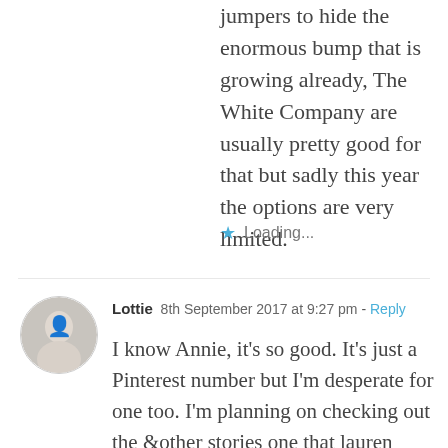jumpers to hide the enormous bump that is growing already, The White Company are usually pretty good for that but sadly this year the options are very limited.
Loading...
Lottie  8th September 2017 at 9:27 pm - Reply
I know Annie, it's so good. It's just a Pinterest number but I'm desperate for one too. I'm planning on checking out the &other stories one that lauren